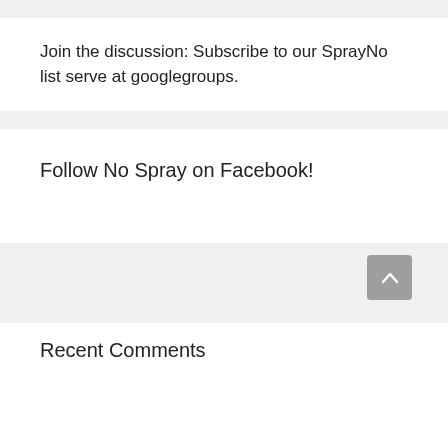Join the discussion: Subscribe to our SprayNo list serve at googlegroups.
Follow No Spray on Facebook!
Recent Comments